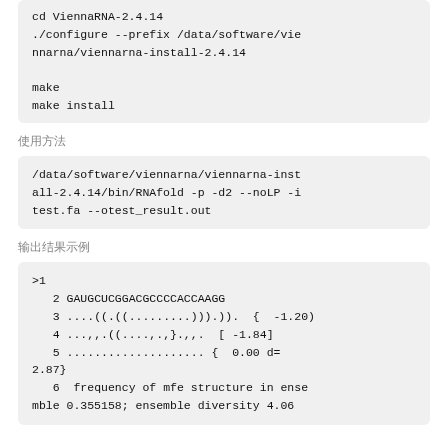cd ViennaRNA-2.4.14
./configure --prefix /data/software/viennarna/viennarna-install-2.4.14

make
make install
使用方法
/data/software/viennarna/viennarna-install-2.4.14/bin/RNAfold -p -d2 --noLP -i test.fa --otest_result.out
输出结果示例
>1
   2 GAUGCUCGGACGCCCCACCAAGG
   3 ....((.((.........))).)).  {  -1.20)
   4 ...,,.((....,.,}.,.  [ -1.84]
   5 .................... {  0.00 d=
2.87}
   6  frequency of mfe structure in ensemble 0.355158; ensemble diversity 4.06